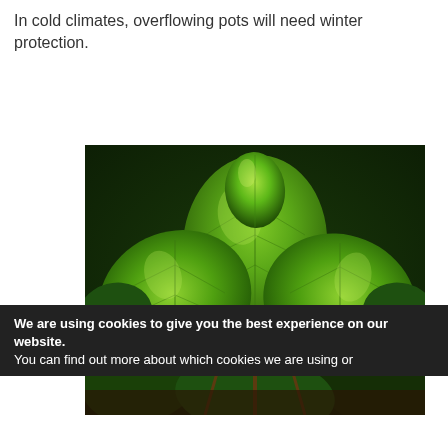In cold climates, overflowing pots will need winter protection.
[Figure (photo): Close-up photograph of bright green mint leaves with textured, crinkled surface against a dark background]
We are using cookies to give you the best experience on our website.
You can find out more about which cookies we are using or
[Figure (other): Social media sharing bar with icons for Facebook, Twitter, MeWe, Parler, Flipboard, LinkedIn, Google, Reddit, Instagram, and a Tweet label, plus Accept, Reject, Settings, and close buttons]